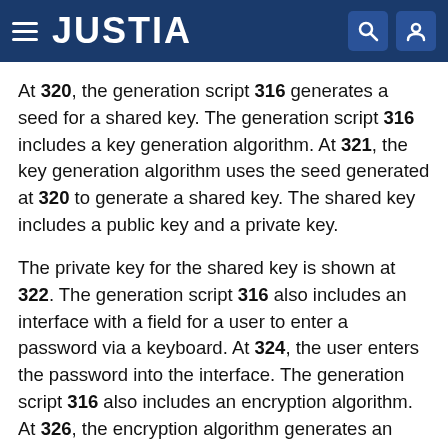JUSTIA
At 320, the generation script 316 generates a seed for a shared key. The generation script 316 includes a key generation algorithm. At 321, the key generation algorithm uses the seed generated at 320 to generate a shared key. The shared key includes a public key and a private key.
The private key for the shared key is shown at 322. The generation script 316 also includes an interface with a field for a user to enter a password via a keyboard. At 324, the user enters the password into the interface. The generation script 316 also includes an encryption algorithm. At 326, the encryption algorithm generates an encrypted seed from the private key shown at 322 and the password entered at 324.
At 328 and 330, the key generation algorithm and